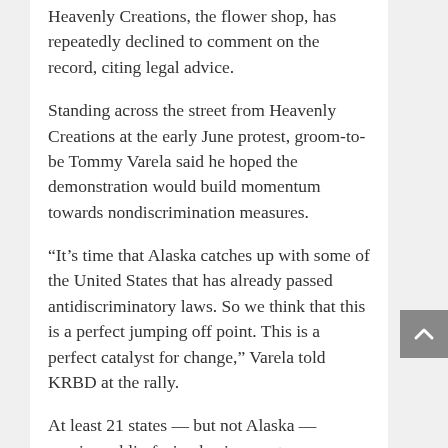Heavenly Creations, the flower shop, has repeatedly declined to comment on the record, citing legal advice.
Standing across the street from Heavenly Creations at the early June protest, groom-to-be Tommy Varela said he hoped the demonstration would build momentum towards nondiscrimination measures.
“It’s time that Alaska catches up with some of the United States that has already passed antidiscriminatory laws. So we think that this is a perfect jumping off point. This is a perfect catalyst for change,” Varela told KRBD at the rally.
At least 21 states — but not Alaska — require public-facing businesses to serve customers without regard to their sexual orientation or gender identity. That’s according to the Human Rights Campaign, a